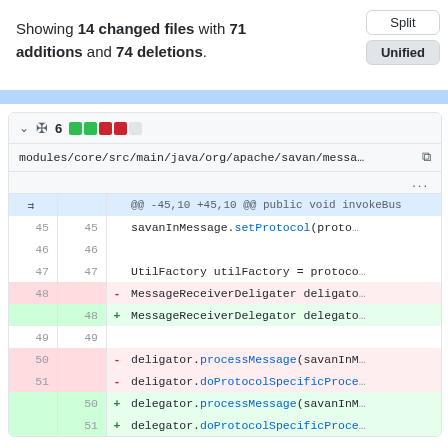Showing 14 changed files with 71 additions and 74 deletions.
[Figure (screenshot): Split/Unified toggle buttons, Split and Unified options]
[Figure (screenshot): Blue progress bar row]
modules/core/src/main/java/org/apache/savan/messa…
Git diff view showing changes from MessageReceiverDeligater to MessageReceiverDelegator, and deligator to delegator method calls in lines 45-51